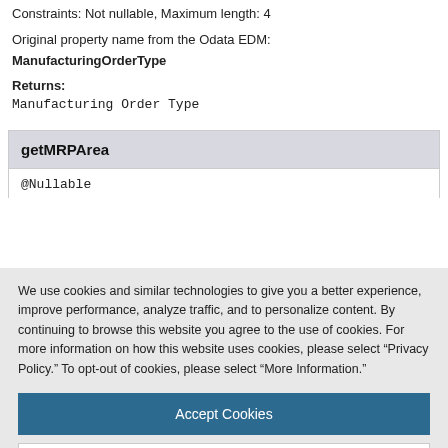Constraints: Not nullable, Maximum length: 4
Original property name from the Odata EDM:
ManufacturingOrderType
Returns:
Manufacturing Order Type
getMRPArea
@Nullable
We use cookies and similar technologies to give you a better experience, improve performance, analyze traffic, and to personalize content. By continuing to browse this website you agree to the use of cookies. For more information on how this website uses cookies, please select “Privacy Policy.” To opt-out of cookies, please select “More Information.”
Accept Cookies
More Information
Privacy Policy | Powered by: TrustArc
getOrderInternalBillOfOperations